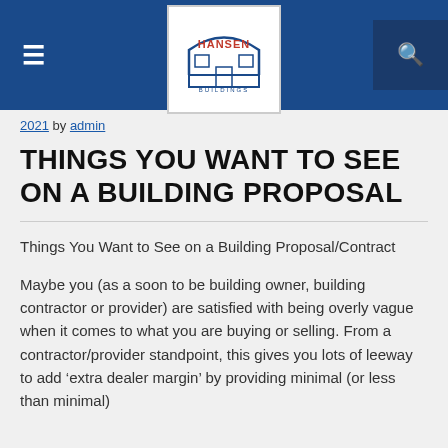Hansen Buildings
2021 by admin
THINGS YOU WANT TO SEE ON A BUILDING PROPOSAL
Things You Want to See on a Building Proposal/Contract
Maybe you (as a soon to be building owner, building contractor or provider) are satisfied with being overly vague when it comes to what you are buying or selling. From a contractor/provider standpoint, this gives you lots of leeway to add ‘extra dealer margin’ by providing minimal (or less than minimal)